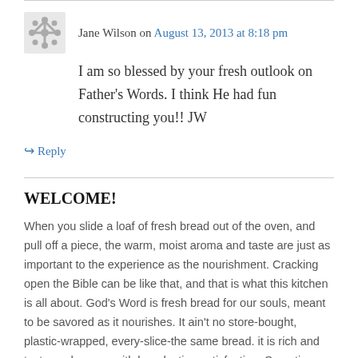Jane Wilson on August 13, 2013 at 8:18 pm
I am so blessed by your fresh outlook on Father's Words. I think He had fun constructing you!! JW
↳ Reply
WELCOME!
When you slide a loaf of fresh bread out of the oven, and pull off a piece, the warm, moist aroma and taste are just as important to the experience as the nourishment. Cracking open the Bible can be like that, and that is what this kitchen is all about. God's Word is fresh bread for our souls, meant to be savored as it nourishes. It ain't no store-bought, plastic-wrapped, every-slice-the same bread. it is rich and tasty, and comes with long-lasting satisfaction. Sometimes the crust takes a